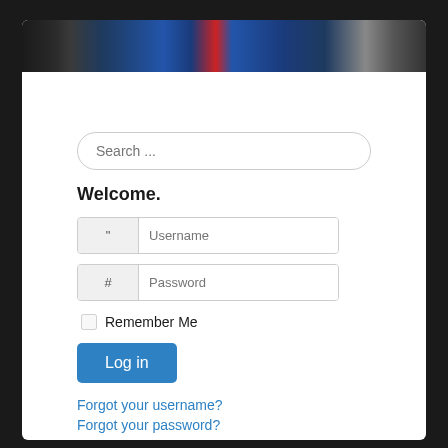[Figure (photo): Banner image showing a crowd scene with blue seats and a red element, dark background with people]
Search ...
Welcome.
Username
Password
Remember Me
Log in
Forgot your username?
Forgot your password?
[Figure (other): Hamburger menu button with three horizontal lines]